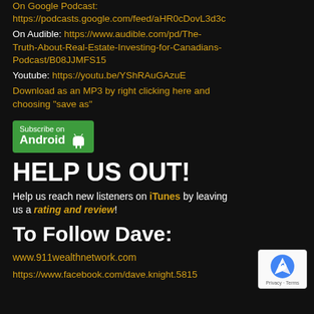On Google Podcast: https://podcasts.google.com/feed/aHR0cDovL3d3
On Audible: https://www.audible.com/pd/The-Truth-About-Real-Estate-Investing-for-Canadians-Podcast/B08JJMFS15
Youtube: https://youtu.be/YShRAuGAzuE
Download as an MP3 by right clicking here and choosing “save as”
[Figure (logo): Subscribe on Android button with Android robot icon]
HELP US OUT!
Help us reach new listeners on iTunes by leaving us a rating and review!
To Follow Dave:
www.911wealthnetwork.com
https://www.facebook.com/dave.knight.5815